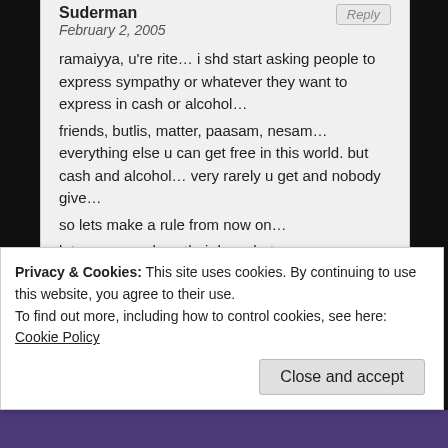Suderman
February 2, 2005
ramaiyya, u're rite… i shd start asking people to express sympathy or whatever they want to express in cash or alcohol…
friends, butlis, matter, paasam, nesam… everything else u can get free in this world. but cash and alcohol… very rarely u get and nobody give…
so lets make a rule from now on…
let everyone show their love, hate, concern, thanksgiving all in denominations of cash or alcohol! 😀
so who wants to start?
he he!
Privacy & Cookies: This site uses cookies. By continuing to use this website, you agree to their use.
To find out more, including how to control cookies, see here: Cookie Policy
Close and accept